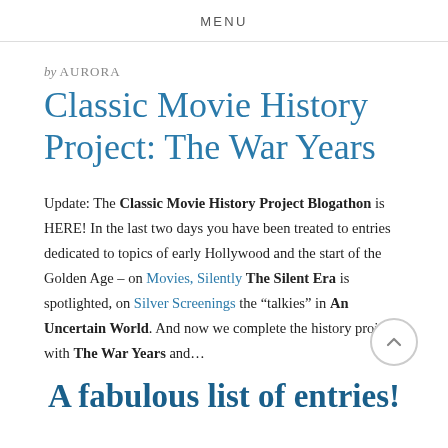MENU
by AURORA
Classic Movie History Project: The War Years
Update: The Classic Movie History Project Blogathon is HERE!  In the last two days you have been treated to entries dedicated to topics of early Hollywood and the start of the Golden Age – on Movies, Silently The Silent Era is spotlighted, on Silver Screenings the “talkies” in An Uncertain World.  And now we complete the history project with The War Years and…
A fabulous list of entries!